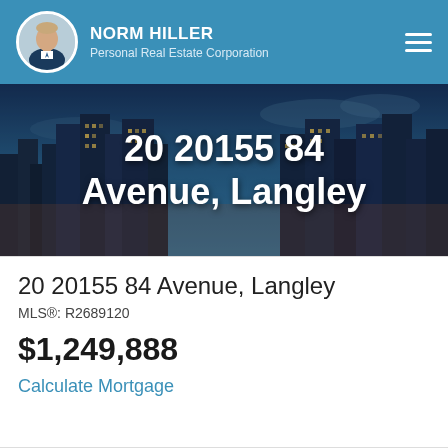NORM HILLER Personal Real Estate Corporation
[Figure (photo): City skyline at dusk with tall buildings and blue sky, used as hero background image]
20 20155 84 Avenue, Langley
20 20155 84 Avenue, Langley
MLS®: R2689120
$1,249,888
Calculate Mortgage